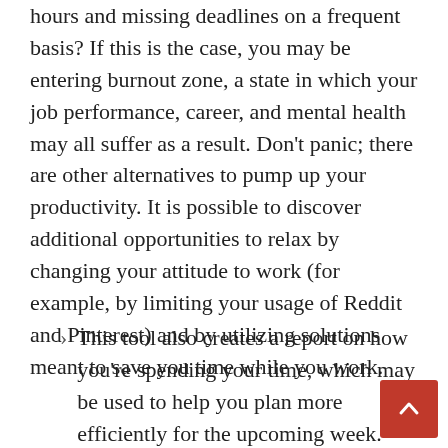hours and missing deadlines on a frequent basis? If this is the case, you may be entering burnout zone, a state in which your job performance, career, and mental health may all suffer as a result. Don't panic; there are other alternatives to pump up your productivity. It is possible to discover additional opportunities to relax by changing your attitude to work (for example, by limiting your usage of Reddit and Pinterest) and by utilizing solutions meant to save you time while you work.
This tool also creates a report on how you're spending your time, which may be used to help you plan more efficiently for the upcoming week.